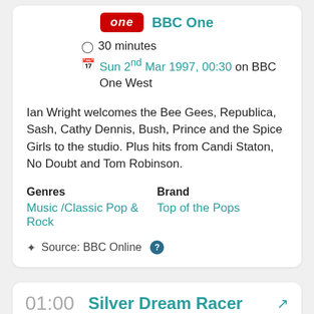[Figure (logo): BBC One logo — red rectangle with 'one' in white italic text, followed by 'BBC One' in teal text]
30 minutes
Sun 2nd Mar 1997, 00:30 on BBC One West
Ian Wright welcomes the Bee Gees, Republica, Sash, Cathy Dennis, Bush, Prince and the Spice Girls to the studio. Plus hits from Candi Staton, No Doubt and Tom Robinson.
Genres
Music /Classic Pop & Rock
Brand
Top of the Pops
Source: BBC Online
01:00
Silver Dream Racer